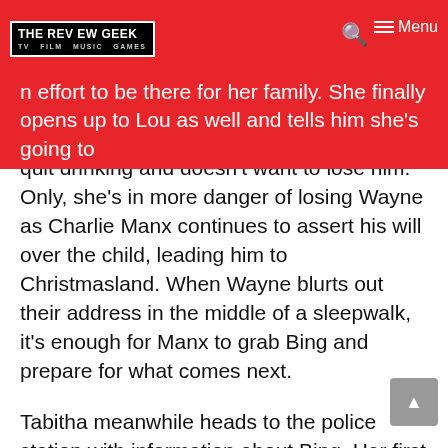THE REVIEW GEEK — TV FILM MUSIC GAMES
n effort to be there for her family. She finally opens up to Lou as well and tells him she's going to quit drinking and doesn't want to lose him. Only, she's in more danger of losing Wayne as Charlie Manx continues to assert his will over the child, leading him to Christmasland. When Wayne blurts out their address in the middle of a sleepwalk, it's enough for Manx to grab Bing and prepare for what comes next.
Tabitha meanwhile heads to the police station with information about Bing. Her first port of call is the hospital but once there, she finds a whole box of supplies missing. This is motivation enough to visit Bing's house but given she's there alone, she doesn't have time to wait for back-up – which is still 20 minutes away. Ignoring a call from Maggie, she heads into Bing's house alone but despite getting the better of Bing, finds herself face to face with Charlie Manx.